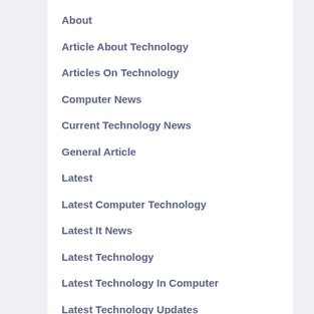About
Article About Technology
Articles On Technology
Computer News
Current Technology News
General Article
Latest
Latest Computer Technology
Latest It News
Latest Technology
Latest Technology In Computer
Latest Technology Updates